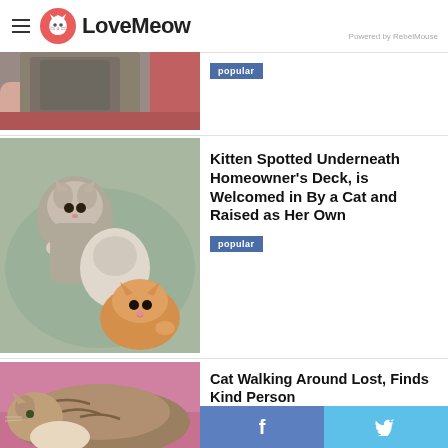LoveMeow — Powered by RebelMouse
[Figure (photo): Partial view of a cat being held, gray and white fur, red/pink background — top of article card cropped]
popular
[Figure (photo): Three kittens playing together on a teal/mint colored surface — two gray tabby kittens and one orange kitten]
Kitten Spotted Underneath Homeowner's Deck, is Welcomed in By a Cat and Raised as Her Own
popular
[Figure (photo): Tabby cat lying on a pink surface, partially visible, bottom of page]
Cat Walking Around Lost, Finds Kind Person
et Her In, So Her ens Can Have Better